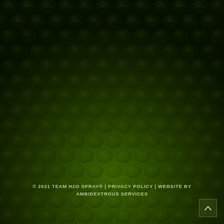[Figure (illustration): Dark green textured background with a repeating scale or bubble-wrap-like pattern, darker at top and lighter green toward the bottom.]
© 2021 TEAM H2O SPRAY® | PRIVACY POLICY | WEBSITE BY AMBIDEXTROUS SERVICES